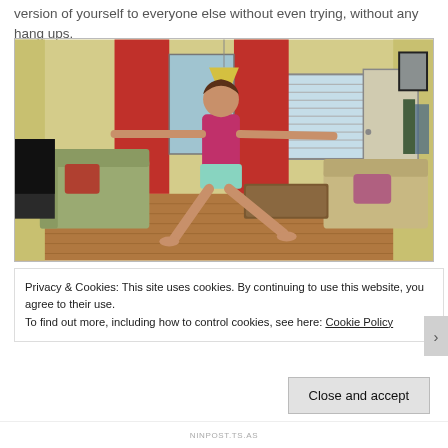version of yourself to everyone else without even trying, without any hang ups.
[Figure (photo): A woman in a magenta tank top and teal shorts performing a yoga warrior pose with arms extended in a living room with yellow walls, red curtains, couches, and a TV.]
Privacy & Cookies: This site uses cookies. By continuing to use this website, you agree to their use.
To find out more, including how to control cookies, see here: Cookie Policy
Close and accept
NINPOST.TS.AS